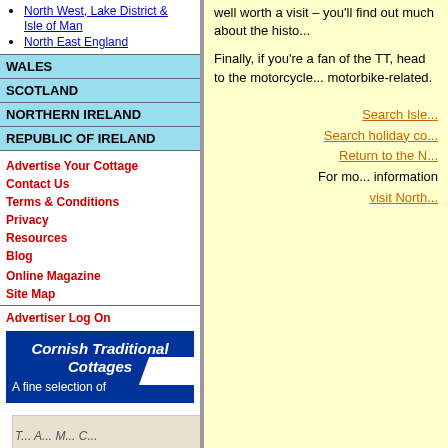North West, Lake District & Isle of Man
North East England
WALES
SCOTLAND
NORTHERN IRELAND
REPUBLIC OF IRELAND
Advertise Your Cottage
Contact Us
Terms & Conditions
Privacy
Resources
Blog
Online Magazine
Site Map
Advertiser Log On
[Figure (illustration): Cornish Traditional Cottages advertisement banner - blue background with italic white text and white stripe graphic, subtitle 'A fine selection of']
[Figure (illustration): Second advertisement banner partially visible at bottom]
well worth a visit – you'll find out much about the histo...
Finally, if you're a fan of the TT, head to the motorcycle... motorbike-related.
Search Isle... Search holiday co... Return to the N... For mo... information visit North...